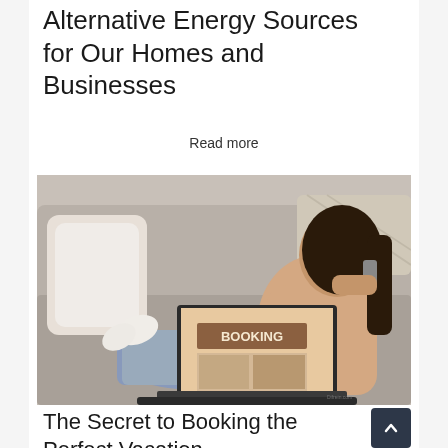Alternative Energy Sources for Our Homes and Businesses
Read more
[Figure (photo): Woman sitting on a couch with a laptop showing 'BOOKING' on screen, holding a phone to her ear, wearing casual jeans and a pink cardigan. The setting is a light grey sofa with pillows.]
The Secret to Booking the Perfect Vacation